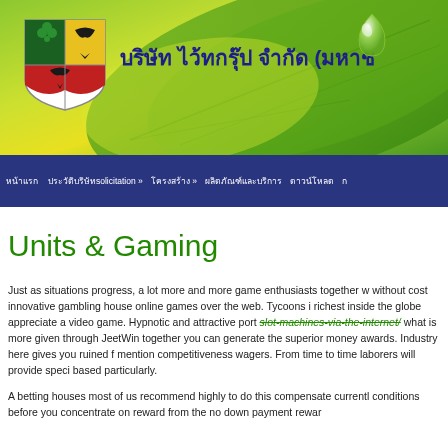[Figure (screenshot): Website header banner with green leaf background, shield/crest logo on left, Thai company name text 'บริษัท ไว้ทกรุ๊ป จำกัด (มหาช' in dark blue, and a water droplet graphic on the right]
หน้าแรก | ประวัติบริษัทsolicitation » | โครงสร้าง » | ผลิตภัณฑ์และบริการ | ดาวน์โหลด | [more]
Units & Gaming
Just as situations progress, a lot more and more game enthusiasts together w without cost innovative gambling house online games over the web. Tycoons i richest inside the globe appreciate a video game. Hypnotic and attractive port slot-machines-via-the-internet/ what is more given through JeetWin together you can generate the superior money awards. Industry here gives you ruined f mention competitiveness wagers. From time to time laborers will provide speci based particularly.
A betting houses most of us recommend highly to do this compensate currentl conditions before you concentrate on reward from the no down payment rewar